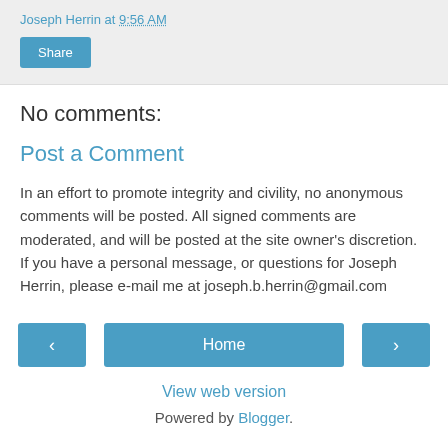Joseph Herrin at 9:56 AM
Share
No comments:
Post a Comment
In an effort to promote integrity and civility, no anonymous comments will be posted. All signed comments are moderated, and will be posted at the site owner's discretion. If you have a personal message, or questions for Joseph Herrin, please e-mail me at joseph.b.herrin@gmail.com
‹  Home  ›
View web version
Powered by Blogger.